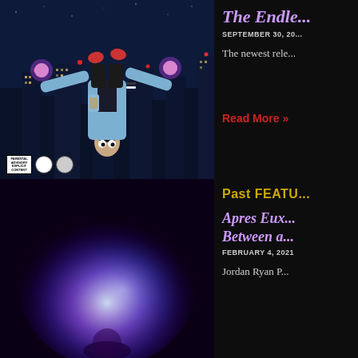[Figure (illustration): Nighttime city scene with an upside-down animated figure falling/floating, wearing a light blue jacket, with purple glowing effects on hands, city skyline in background with red lights]
The Endle...
SEPTEMBER 30, 20...
The newest rele...
Read More »
[Figure (illustration): Purple and blue glowing orb/light effect on dark background, abstract art]
Past FEATU...
Apres Eux... Between a...
FEBRUARY 4, 2021
Jordan Ryan P...